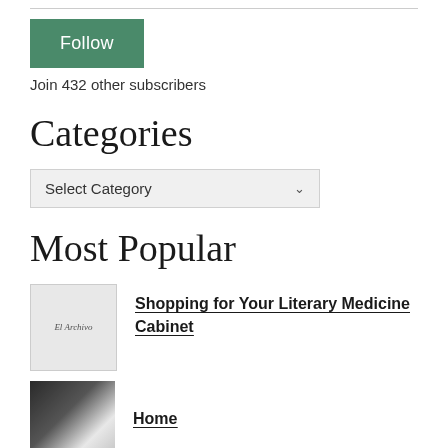[Figure (other): Green Follow button]
Join 432 other subscribers
Categories
[Figure (other): Select Category dropdown]
Most Popular
[Figure (other): Thumbnail image for El Archivo book cover]
Shopping for Your Literary Medicine Cabinet
[Figure (other): Thumbnail image of plant/nature photo]
Home
[Figure (other): Thumbnail image of warm-toned object]
DIY Adjustable Broviac Vest Tutorial